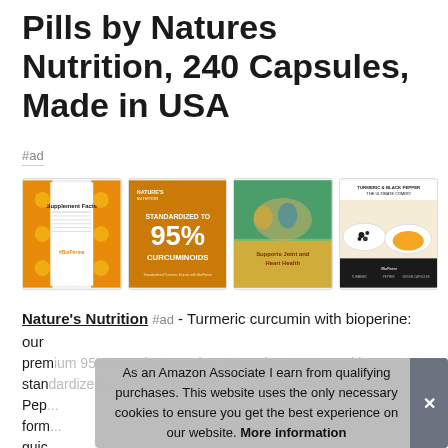Pills by Natures Nutrition, 240 Capsules, Made in USA
#ad
[Figure (photo): Four product images for Natures Nutrition Turmeric supplement: supplement facts label, '95% Curcuminoids' marketing image, elderly couple cycling with 'Supports joint and Heart Health' text, and turmeric/black pepper spice photo]
Nature's Nutrition #ad - Turmeric curcumin with bioperine: our premium 95 Turmeric Capsules. Capsules 3600mg with standardized... Pep... form... guid... assure the quality and purity of each batch.
As an Amazon Associate I earn from qualifying purchases. This website uses the only necessary cookies to ensure you get the best experience on our website. More information